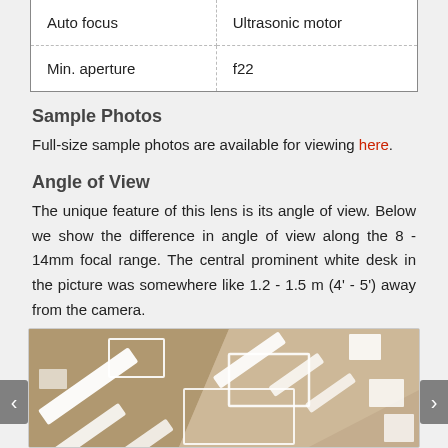| Auto focus | Ultrasonic motor |
| Min. aperture | f22 |
Sample Photos
Full-size sample photos are available for viewing here.
Angle of View
The unique feature of this lens is its angle of view. Below we show the difference in angle of view along the 8 - 14mm focal range. The central prominent white desk in the picture was somewhere like 1.2 - 1.5 m (4' - 5') away from the camera.
[Figure (photo): Interior ceiling photo showing fluorescent lights and white reflective panels at various angles, used to demonstrate angle of view comparison.]